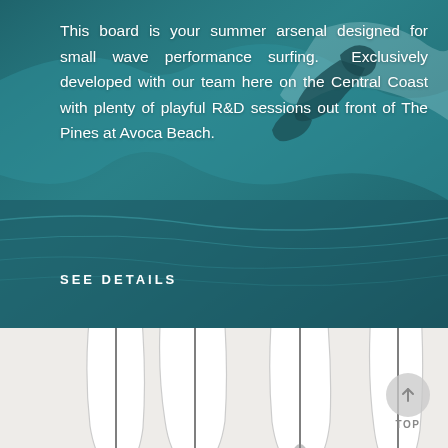[Figure (photo): Top half of page: teal/dark ocean surfing background image showing a surfer riding a wave, with text overlay. Bottom half shows three white surfboards standing upright against a light gray/cream background.]
This board is your summer arsenal designed for small wave performance surfing. Exclusively developed with our team here on the Central Coast with plenty of playful R&D sessions out front of The Pines at Avoca Beach.
SEE DETAILS